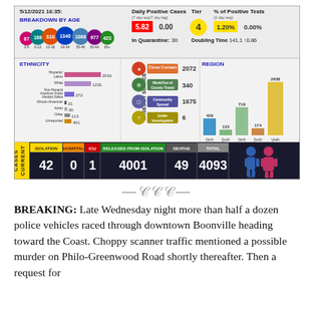[Figure (infographic): COVID-19 daily dashboard for 5/12/2021 16:35 showing breakdown by age (87, 188, 310, 1340, 1068, 677, 423), ethnicity bars (Hispanic/Latino 2016, White 1231, Non-Hispanic American Indian/Alaskan Native 272, African American 21, Asian 30, Other 113, Unreported 401), cases by source (Close Contact 2072, Work/Out of County Travel 340, Community Spread 1675, Under Investigation 6), region bars (North Coast 429, South Coast 133, North County 719, South County 174, Ukiah Area 2638), daily positive cases (5.82 / 0.00), Tier 4, % of Positive Tests 1.20% / 0.00%, In Quarantine 30, Doubling Time 141.1 +0.86, current cases: Isolation 42, Hospital 0, ICU 1, Released from Isolation 4001, Deaths 49, Total 4093]
BREAKING: Late Wednesday night more than half a dozen police vehicles raced through downtown Boonville heading toward the Coast. Choppy scanner traffic mentioned a possible murder on Philo-Greenwood Road shortly thereafter. Then a request for